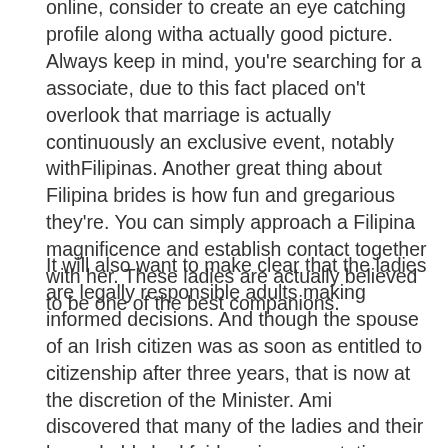online, consider to create an eye catching profile along witha actually good picture. Always keep in mind, you're searching for a associate, due to this fact placed on't overlook that marriage is actually continuously an exclusive event, notably withFilipinas. Another great thing about Filipina brides is how fun and gregarious they're. You can simply approach a Filipina magnificence and establish contact together with her. These ladies are actually believed to be one of the best companions.
It will also want to make clear that the ladies are legally responsible adults making informed decisions. And though the spouse of an Irish citizen was as soon as entitled to citizenship after three years, that is now at the discretion of the Minister. Ami discovered that many of the ladies and their households had fairly naive expectations, with romantic concepts about marrying a foreigner. Philippine females occur to be among the easiest kinds of ladies throughout Asia.